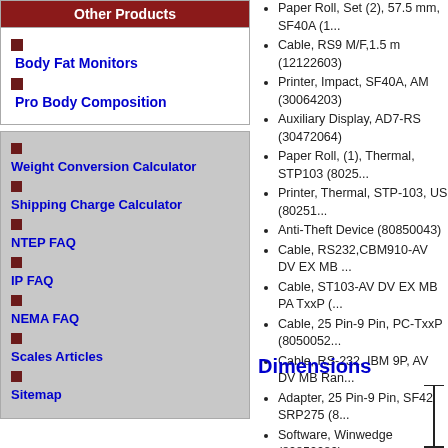Other Products
Body Fat Monitors
Pro Body Composition
Weight Conversion Calculator
Shipping Charge Calculator
NTEP FAQ
IP FAQ
NEMA FAQ
Scales Articles
Sitemap
Paper Roll, Set (2), 57.5 mm, SF40A (1...
Cable, RS9 M/F,1.5 m (12122603)
Printer, Impact, SF40A, AM (30064203)
Auxiliary Display, AD7-RS (30472064)
Paper Roll, (1), Thermal, STP103 (8025...
Printer, Thermal, STP-103, US (80251...
Anti-Theft Device (80850043)
Cable, RS232,CBM910-AV DV EX MB ...
Cable, ST103-AV DV EX MB PA TxxP (...
Cable, 25 Pin-9 Pin, PC-TxxP (8050052...
Cable, RS-232, IBM 9P, AV DV MB Ran...
Adapter, 25 Pin-9 Pin, SF42 SRP275 (8...
Software, Winwedge (80850080)
Dimensions
[Figure (engineering-diagram): Partial engineering/dimensions diagram with vertical measurement lines visible at right edge]